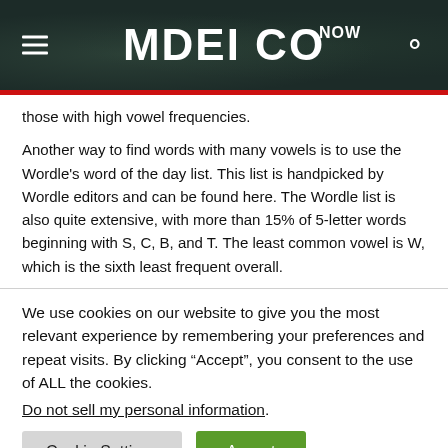MDEI CO NOW
those with high vowel frequencies.
Another way to find words with many vowels is to use the Wordle's word of the day list. This list is handpicked by Wordle editors and can be found here. The Wordle list is also quite extensive, with more than 15% of 5-letter words beginning with S, C, B, and T. The least common vowel is W, which is the sixth least frequent overall.
We use cookies on our website to give you the most relevant experience by remembering your preferences and repeat visits. By clicking “Accept”, you consent to the use of ALL the cookies.
Do not sell my personal information.
Cookie Settings | Accept